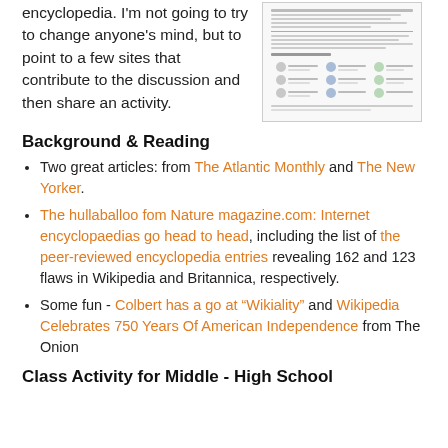encyclopedia. I'm not going to try to change anyone's mind, but to point to a few sites that contribute to the discussion and then share an activity.
[Figure (screenshot): Screenshot thumbnail of a webpage showing text lines and icon-based list rows in three columns]
Background & Reading
Two great articles: from The Atlantic Monthly and The New Yorker.
The hullaballoo fom Nature magazine.com: Internet encyclopaedias go head to head, including the list of the peer-reviewed encyclopedia entries revealing 162 and 123 flaws in Wikipedia and Britannica, respectively.
Some fun - Colbert has a go at “Wikiality” and Wikipedia Celebrates 750 Years Of American Independence from The Onion
Class Activity for Middle - High School